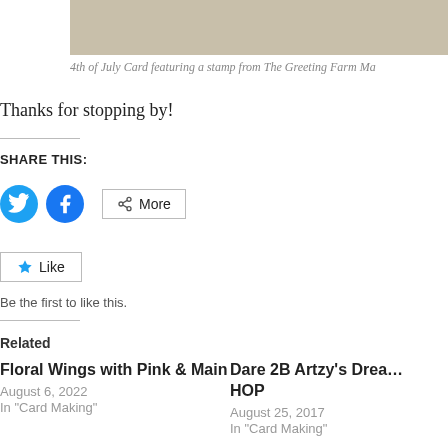[Figure (photo): Partial image strip at top of page, beige/tan colored]
4th of July Card featuring a stamp from The Greeting Farm Ma
Thanks for stopping by!
SHARE THIS:
[Figure (infographic): Twitter and Facebook share buttons, and More button]
[Figure (infographic): Like button with star icon]
Be the first to like this.
Related
Floral Wings with Pink & Main
August 6, 2022
In "Card Making"
Dare 2B Artzy's Drea… HOP
August 25, 2017
In "Card Making"